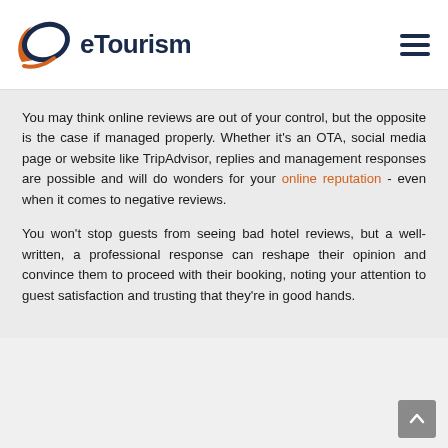eTourism
You may think online reviews are out of your control, but the opposite is the case if managed properly. Whether it's an OTA, social media page or website like TripAdvisor, replies and management responses are possible and will do wonders for your online reputation - even when it comes to negative reviews.
You won't stop guests from seeing bad hotel reviews, but a well-written, a professional response can reshape their opinion and convince them to proceed with their booking, noting your attention to guest satisfaction and trusting that they're in good hands.